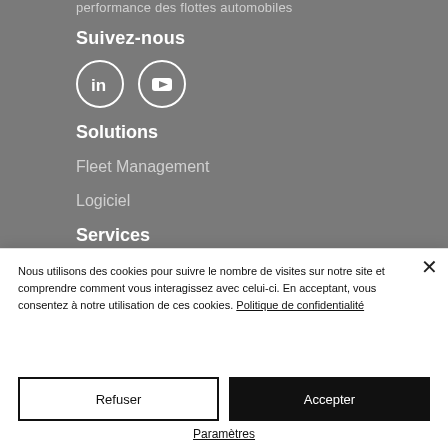performance des flottes automobiles
Suivez-nous
[Figure (illustration): LinkedIn and YouTube social media icons as white circles with logos inside]
Solutions
Fleet Management
Logiciel
Services
Conseil
Nous utilisons des cookies pour suivre le nombre de visites sur notre site et comprendre comment vous interagissez avec celui-ci. En acceptant, vous consentez à notre utilisation de ces cookies. Politique de confidentialité
Refuser
Accepter
Paramètres